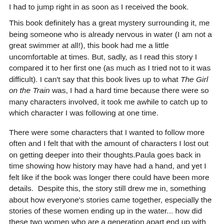I had to jump right in as soon as I received the book.
This book definitely has a great mystery surrounding it, me being someone who is already nervous in water (I am not a great swimmer at all!), this book had me a little uncomfortable at times. But, sadly, as I read this story I compared it to her first one (as much as I tried not to it was difficult). I can't say that this book lives up to what The Girl on the Train was, I had a hard time because there were so many characters involved, it took me awhile to catch up to which character I was following at one time.
There were some characters that I wanted to follow more often and I felt that with the amount of characters I lost out on getting deeper into their thoughts.Paula goes back in time showing how history may have had a hand, and yet I felt like if the book was longer there could have been more details.  Despite this, the story still drew me in, something about how everyone's stories came together, especially the stories of these women ending up in the water... how did these two women who are a generation apart end up with the same fate, what about their lives were intertwined? But more so, the way Paula goes into the aftermath and how everyone